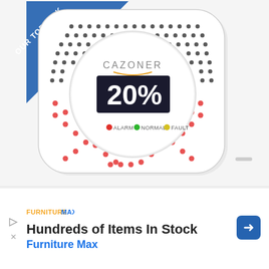[Figure (photo): A white CAZONER carbon monoxide detector with a circular LCD display showing '20%', a perforated speaker grille with red and black dots, a blue 'OUR TOP PICK' corner banner, and three status indicator labels: ALARM (red dot), NORMAL (green dot), FAULT (yellow dot).]
[Figure (logo): Furniture Max logo text in orange/yellow]
Hundreds of Items In Stock
Furniture Max